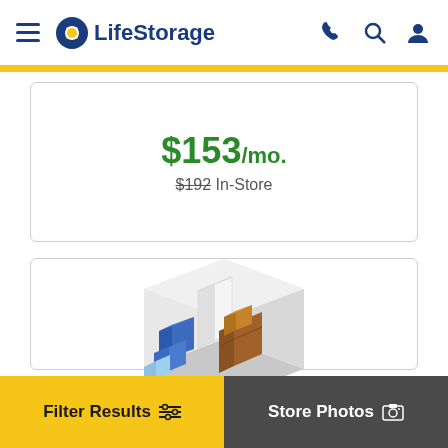LifeStorage
$153/mo. $192 In-Store
[Figure (illustration): Isometric illustration of a storage unit interior with boxes, furniture items including a dresser, and other stored goods on a gray floor with light gray walls.]
Filter Results | Store Photos